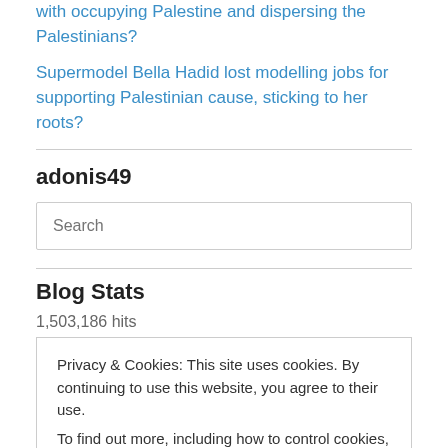with occupying Palestine and dispersing the Palestinians?
Supermodel Bella Hadid lost modelling jobs for supporting Palestinian cause, sticking to her roots?
adonis49
Search
Blog Stats
1,503,186 hits
Privacy & Cookies: This site uses cookies. By continuing to use this website, you agree to their use.
To find out more, including how to control cookies, see here: Cookie Policy
Close and accept
I like this Girl